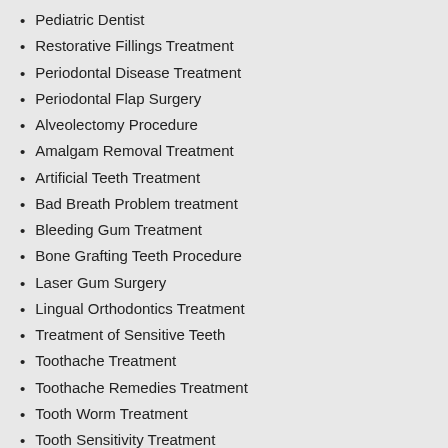Pediatric Dentist
Restorative Fillings Treatment
Periodontal Disease Treatment
Periodontal Flap Surgery
Alveolectomy Procedure
Amalgam Removal Treatment
Artificial Teeth Treatment
Bad Breath Problem treatment
Bleeding Gum Treatment
Bone Grafting Teeth Procedure
Laser Gum Surgery
Lingual Orthodontics Treatment
Treatment of Sensitive Teeth
Toothache Treatment
Toothache Remedies Treatment
Tooth Worm Treatment
Tooth Sensitivity Treatment
Tooth Extraction Treatment
Tooth Erosion Treatment
Maxillo Facial Prosthodontics Service
MDS Surgeon
Metal Braces Fixing